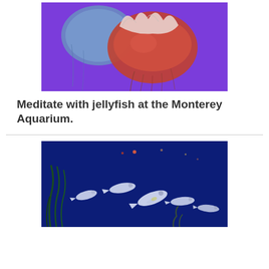[Figure (photo): Two jellyfish with reddish-orange bells and flowing tentacles against a bright purple/blue background.]
Meditate with jellyfish at the Monterey Aquarium.
[Figure (photo): Several white squid swimming in a deep blue aquarium tank with green seagrass on the left side.]